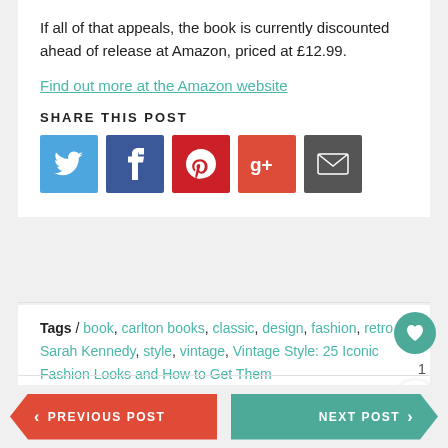If all of that appeals, the book is currently discounted ahead of release at Amazon, priced at £12.99.
Find out more at the Amazon website
SHARE THIS POST
[Figure (infographic): Social share buttons: Twitter (blue), Facebook (dark blue), Pinterest (red), Google+ (orange-red), Email (dark grey)]
Tags / book, carlton books, classic, design, fashion, retro, Sarah Kennedy, style, vintage, Vintage Style: 25 Iconic Fashion Looks and How to Get Them
PREVIOUS POST
NEXT POST